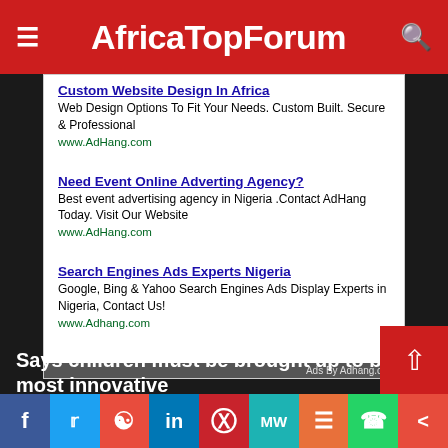AfricaTopForum
[Figure (infographic): Advertisement block with three ads: 'Custom Website Design In Africa', 'Need Event Online Adverting Agency?', 'Search Engines Ads Experts Nigeria' — all from AdHang.com]
Says children must be brought up to be most innovative
By Prince Sam Down
[Figure (infographic): Social sharing bar with icons for Facebook, Twitter, Reddit, LinkedIn, Pinterest, MeWe, Mix, WhatsApp, Share]